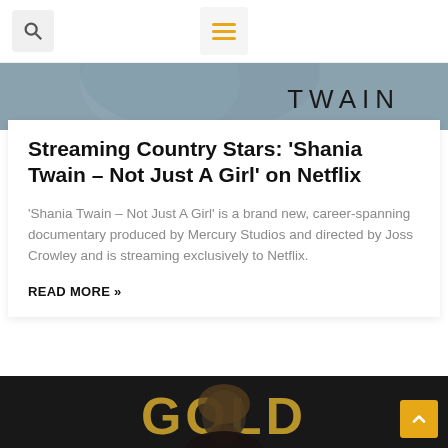Search and navigation menu
[Figure (photo): Shania Twain documentary header image with 'TWAIN' text in large letters on a blue-grey tone photo]
Streaming Country Stars: ‘Shania Twain – Not Just A Girl’ on Netflix
‘Shania Twain – Not Just A Girl’ is a brand new, career-spanning documentary produced by Mercury Studios and directed by Joss Crowley and is streaming exclusively to Netflix.
READ MORE »
[Figure (photo): Bottom image showing a man with long hair and beard in front of large gold letters 'GOLD' on a dark background]